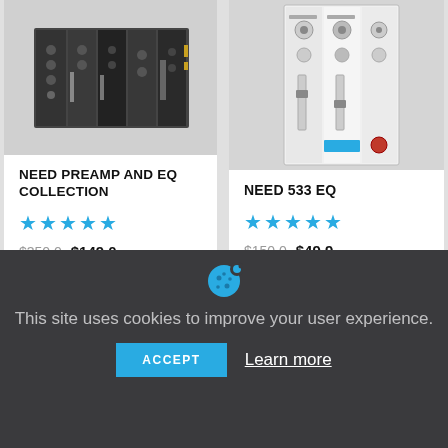[Figure (photo): Photo of dark audio preamp and EQ module collection hardware]
[Figure (photo): Photo of white/light colored 533 EQ hardware module]
NEED PREAMP AND EQ COLLECTION
★★★★★
$350.0 $149.0
NEED 533 EQ
★★★★★
$150.0 $49.9
[Figure (illustration): Cookie icon - blue cookie with dots]
This site uses cookies to improve your user experience.
ACCEPT
Learn more